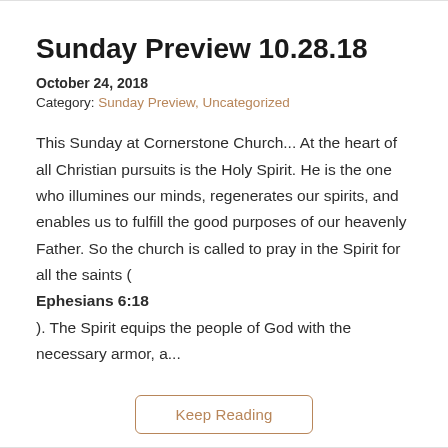Sunday Preview 10.28.18
October 24, 2018
Category: Sunday Preview, Uncategorized
This Sunday at Cornerstone Church... At the heart of all Christian pursuits is the Holy Spirit. He is the one who illumines our minds, regenerates our spirits, and enables us to fulfill the good purposes of our heavenly Father. So the church is called to pray in the Spirit for all the saints ( Ephesians 6:18 ). The Spirit equips the people of God with the necessary armor, a...
Keep Reading